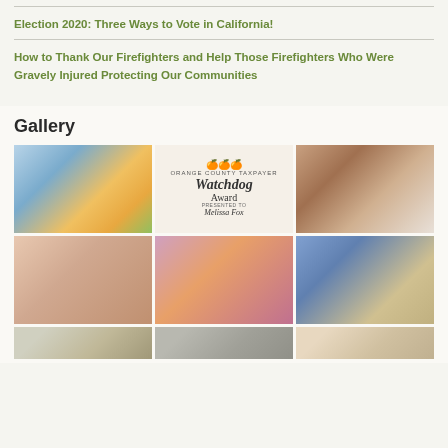Election 2020: Three Ways to Vote in California!
How to Thank Our Firefighters and Help Those Firefighters Who Were Gravely Injured Protecting Our Communities
Gallery
[Figure (photo): Person in hard hat and safety vest shaking hands at a construction site]
[Figure (photo): Orange County Taxpayer Watchdog Award presented to Melissa Fox]
[Figure (photo): Woman in plaid jacket standing in front of brick wall with people]
[Figure (photo): Person posing like Rosie the Riveter flexing arm]
[Figure (photo): Group of women in colorful traditional Indian attire]
[Figure (photo): Group of people wearing yellow caps outdoors]
[Figure (photo): Partial photo row at bottom left]
[Figure (photo): Partial photo row at bottom center]
[Figure (photo): Partial photo row at bottom right]